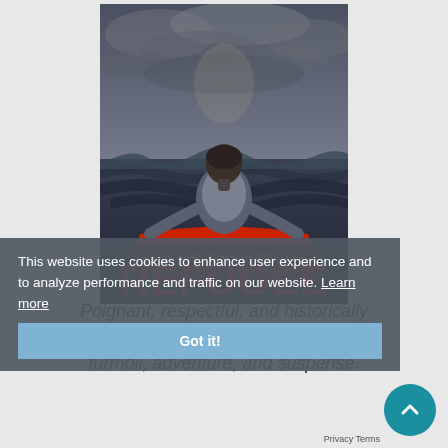[Figure (illustration): Book cover of 'Refugee' by Alan Gratz — New York Times Bestseller. Shows a child from behind, sitting in a red inflatable boat on stormy waters with dramatic cloudy sky. Title 'REFUGEE' in large red block letters across the cover.]
This website uses cookies to enhance user experience and to analyze performance and traffic on our website. Learn more
Got it!
Poignant, respectful, and historically accurate while pulsating with emotional turmoil, adventure, and suspense.